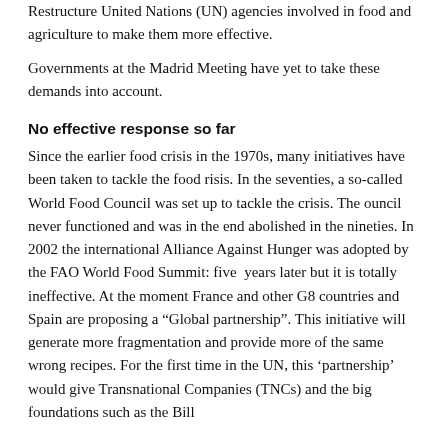Restructure United Nations (UN) agencies involved in food and agriculture to make them more effective.
Governments at the Madrid Meeting have yet to take these demands into account.
No effective response so far
Since the earlier food crisis in the 1970s, many initiatives have been taken to tackle the food risis. In the seventies, a so-called World Food Council was set up to tackle the crisis. The ouncil never functioned and was in the end abolished in the nineties. In 2002 the international Alliance Against Hunger was adopted by the FAO World Food Summit: five years later but it is totally ineffective. At the moment France and other G8 countries and Spain are proposing a “Global partnership”. This initiative will generate more fragmentation and provide more of the same wrong recipes. For the first time in the UN, this ‘partnership’ would give Transnational Companies (TNCs) and the big foundations such as the Bill